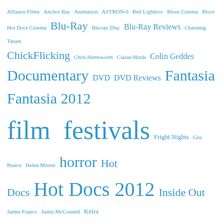[Figure (infographic): Tag cloud of blog/website topics and contributor names in varying font sizes, all in steel blue color on white background. Terms include: Alliance Films, Anchor Bay, Animation, ASTRON-6, Bell Lightbox, Bloor Cinema, Bloor Hot Docs Cinema, Blu-Ray, Blu-ray Disc, Blu-Ray Reviews, Channing Tatum, ChickFlicking, Chris Hemsworth, Ciaran Hinds, Colin Geddes, Documentary, DVD, DVD Reviews, Fantasia, Fantasia 2012, film festivals, Fright Nights, Guy Pearce, Helen Mirren, horror, Hot Docs, Hot Docs 2012, Inside Out, James Franco, Justin McConnell, Keira Knightley, Kirk Haviland, Kristen Stewart, Liam Neeson, Little Terrors, Matt Hodgson, Michael Fassbender, Movie Reviews, Movies, Nadia Sandhu, Olga Kurylenko, Paolo Kagaoan, Park Chan-wook, Photo Review, Projection Booth, Rachel McAdams, Reel Asian 2012, Reviews, Rue Morgue, Scarlett Johansson, Sci-Fi, Shinsedai, Shinsedai Cinema Festival, Stephen McHattie, Steve Coogan, TAD, TAD 2012, TADFF, The Innkeepers, The Projection Booth, TIFF, TIFF 2011, TIFF 2012, Ti West, TKFF, Top, Toronto, Toronto After Dark, Toronto After Dark 2011]